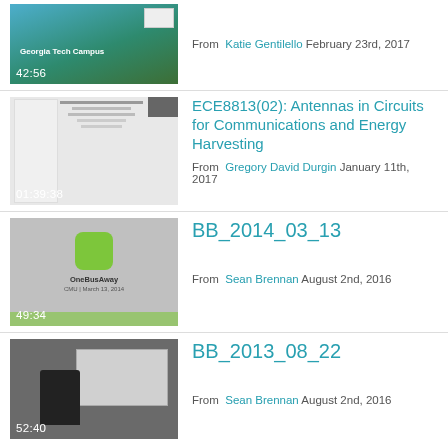[Figure (screenshot): Video thumbnail showing Georgia Tech Campus lecture, duration 42:56]
From Katie Gentilello February 23rd, 2017
[Figure (screenshot): Video thumbnail showing slide presentation on antennas, duration 01:39:38]
ECE8813(02): Antennas in Circuits for Communications and Energy Harvesting
From Gregory David Durgin January 11th, 2017
[Figure (screenshot): Video thumbnail showing OneBusAway presentation, duration 49:34]
BB_2014_03_13
From Sean Brennan August 2nd, 2016
[Figure (screenshot): Video thumbnail showing person at lectern with screen, duration 52:40]
BB_2013_08_22
From Sean Brennan August 2nd, 2016